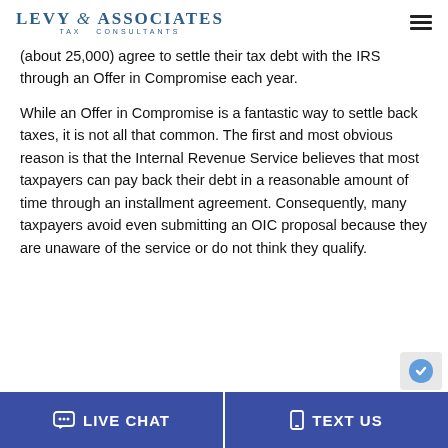Levy & Associates Tax Consultants
(about 25,000) agree to settle their tax debt with the IRS through an Offer in Compromise each year.
While an Offer in Compromise is a fantastic way to settle back taxes, it is not all that common. The first and most obvious reason is that the Internal Revenue Service believes that most taxpayers can pay back their debt in a reasonable amount of time through an installment agreement. Consequently, many taxpayers avoid even submitting an OIC proposal because they are unaware of the service or do not think they qualify.
LIVE CHAT | TEXT US